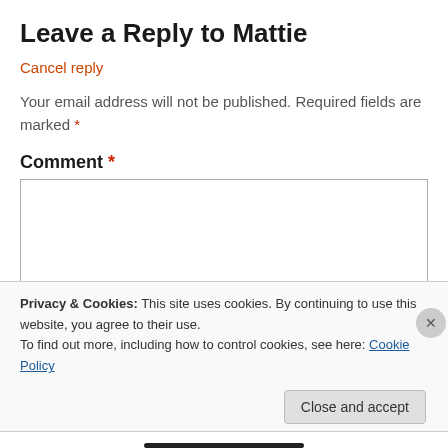Leave a Reply to Mattie
Cancel reply
Your email address will not be published. Required fields are marked *
Comment *
Privacy & Cookies: This site uses cookies. By continuing to use this website, you agree to their use.
To find out more, including how to control cookies, see here: Cookie Policy
Close and accept